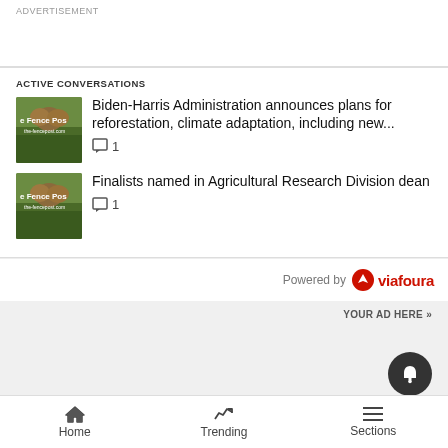ADVERTISEMENT
ACTIVE CONVERSATIONS
Biden-Harris Administration announces plans for reforestation, climate adaptation, including new... 1
Finalists named in Agricultural Research Division dean 1
Powered by viafoura
YOUR AD HERE »
Home  Trending  Sections